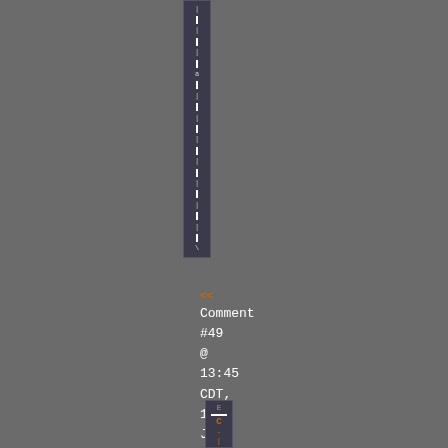[Figure (screenshot): A narrow vertical navigation panel with dashes and small characters on a dark background, spanning roughly the top 60% of the page]
<< Comment #49 @ 13:45 CDT, 16 July 2021
[Figure (screenshot): A small bottom navigation panel with orange characters including E, an image thumbnail, C, and dash marks]